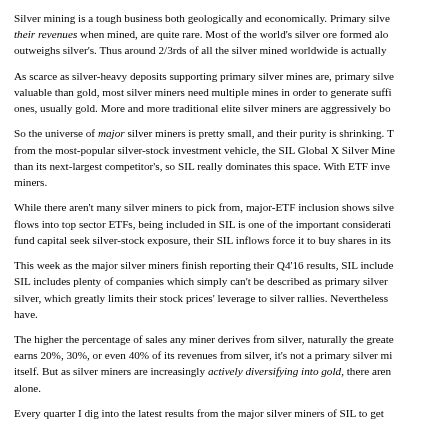Silver mining is a tough business both geologically and economically. Primary silver deposits, which have silver as the dominant metal generating their revenues when mined, are quite rare. Most of the world's silver ore formed alongside base metals whose economic value outweighs silver's. Thus around 2/3rds of all the silver mined worldwide is actually a byproduct of base-metal mines.
As scarce as silver-heavy deposits supporting primary silver mines are, primary silver mines are also expensive to run. Since silver is far less valuable than gold, most silver miners need multiple mines in order to generate sufficient cash flows. And diversifying by adding other metal ones, usually gold. More and more traditional elite silver miners are aggressively building gold production.
So the universe of major silver miners is pretty small, and their purity is shrinking. The leading silver miners are best analyzed from the most-popular silver-stock investment vehicle, the SIL Global X Silver Miners ETF. SIL's assets are actually 5x to 10x larger than its next-largest competitor's, so SIL really dominates this space. With ETF investing so popular, SIL largely defines silver miners.
While there aren't many silver miners to pick from, major-ETF inclusion shows silver miners are important. With so much capital flows into top sector ETFs, being included in SIL is one of the important considerations for silver-stock investors. As more and more fund capital seek silver-stock exposure, their SIL inflows force it to buy shares in its component stocks.
This week as the major silver miners finish reporting their Q4'16 results, SIL included 26 component stocks. Unfortunately SIL includes plenty of companies which simply can't be described as primary silver miners. They earn too little of their revenues from silver, which greatly limits their stock prices' leverage to silver rallies. Nevertheless they are what SIL investors have.
The higher the percentage of sales any miner derives from silver, naturally the greater its exposure to silver price moves. A miner that earns 20%, 30%, or even 40% of its revenues from silver, it's not a primary silver miner regardless of how it might describe itself. But as silver miners are increasingly actively diversifying into gold, there aren't many purer silver plays left to choose alone.
Every quarter I dig into the latest results from the major silver miners of SIL to get